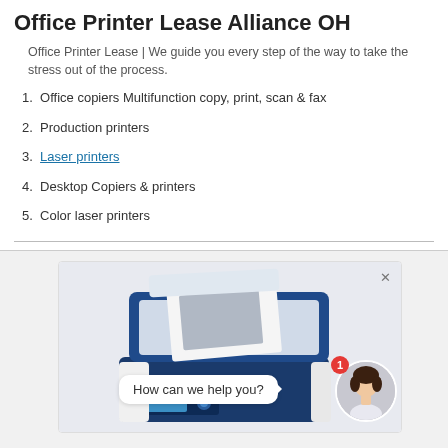Office Printer Lease Alliance OH
Office Printer Lease | We guide you every step of the way to take the stress out of the process.
1. Office copiers Multifunction copy, print, scan & fax
2. Production printers
3. Laser printers
4. Desktop Copiers & printers
5. Color laser printers
[Figure (screenshot): Screenshot of a blue multifunction office printer/copier with a chat widget overlay showing 'How can we help you?' and a female avatar with a red notification badge showing '1'. A close (x) button is visible in the top right.]